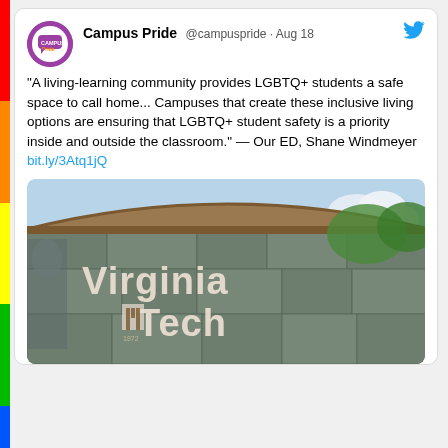[Figure (screenshot): Tweet from Campus Pride (@campuspride · Aug 18) with quote about LGBTQ+ living-learning communities and a Virginia Tech campus sign photo]
Facebook
[Figure (screenshot): Facebook Like and Share buttons with '13K people like this. Sign Up to see what your friends like.']
Featured Events
Stop The Hate Online Training :: October 14, 2022